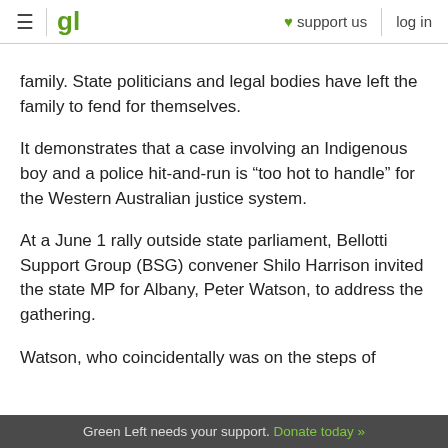gl | ♥ support us | log in
family. State politicians and legal bodies have left the family to fend for themselves.
It demonstrates that a case involving an Indigenous boy and a police hit-and-run is “too hot to handle” for the Western Australian justice system.
At a June 1 rally outside state parliament, Bellotti Support Group (BSG) convener Shilo Harrison invited the state MP for Albany, Peter Watson, to address the gathering.
Watson, who coincidentally was on the steps of
Green Left needs your support. Donate today »